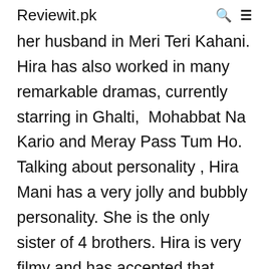Reviewit.pk
her husband in Meri Teri Kahani. Hira has also worked in many remarkable dramas, currently starring in Ghalti,  Mohabbat Na Kario and Meray Pass Tum Ho. Talking about personality , Hira Mani has a very jolly and bubbly personality. She is the only sister of 4 brothers. Hira is very filmy and has accepted that many times on national television. Recently Hira has shared some pictures in which she is seen having fun with her cousins. Hira says: “An uncle is not a babysitter by the time...